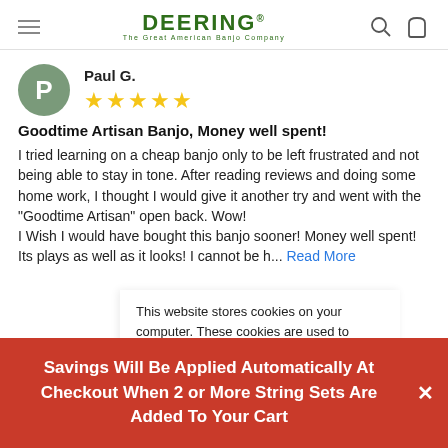DEERING — The Great American Banjo Company
Paul G.
★★★★★
Goodtime Artisan Banjo, Money well spent!
I tried learning on a cheap banjo only to be left frustrated and not being able to stay in tone. After reading reviews and doing some home work, I thought I would give it another try and went with the "Goodtime Artisan" open back. Wow!
I Wish I would have bought this banjo sooner! Money well spent! Its plays as well as it looks! I cannot be h... Read More
This website stores cookies on your computer. These cookies are used to collect information about how you interact with our website and allow us to remember you. We use this information in order to improve and customize your browsing experience and for analytics and metrics about our visitors. To find out more about the cookies we use, see our Privacy
Savings Will Be Applied Automatically At Checkout When 2 or More String Sets Are Added To Your Cart